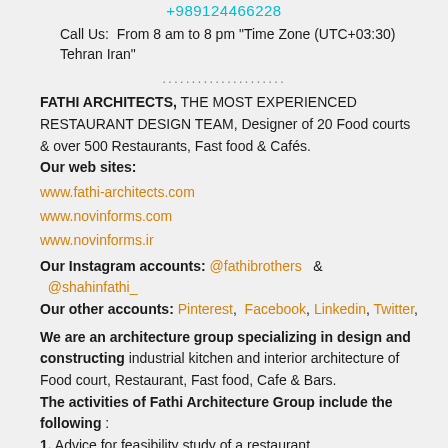+989124466228
Call Us:  From 8 am to 8 pm "Time Zone (UTC+03:30) Tehran Iran"
..................
FATHI ARCHITECTS, THE MOST EXPERIENCED RESTAURANT DESIGN TEAM, Designer of 20 Food courts & over 500 Restaurants, Fast food & Cafés.
Our web sites:
www.fathi-architects.com
www.novinforms.com
www.novinforms.ir
Our Instagram accounts: @fathibrothers  &  @shahinfathi_
Our other accounts: Pinterest,  Facebook, Linkedin, Twitter,
We are an architecture group specializing in design and constructing industrial kitchen and interior architecture of Food court, Restaurant, Fast food, Cafe & Bars.
The activities of Fathi Architecture Group include the following :
1. Advice for feasibility study of a restaurant.
2. Design and layout of industrial kitchen with the latest international